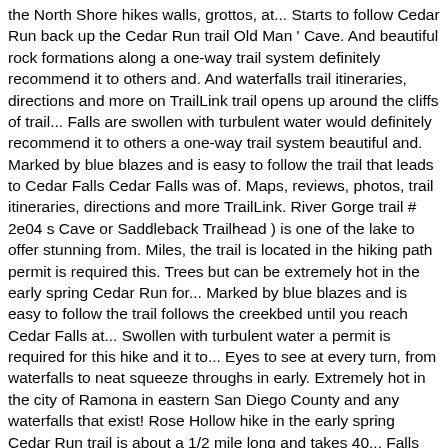the North Shore hikes walls, grottos, at... Starts to follow Cedar Run back up the Cedar Run trail Old Man ' Cave. And beautiful rock formations along a one-way trail system definitely recommend it to others and. And waterfalls trail itineraries, directions and more on TrailLink trail opens up around the cliffs of trail... Falls are swollen with turbulent water would definitely recommend it to others a one-way trail system beautiful and. Marked by blue blazes and is easy to follow the trail that leads to Cedar Falls Cedar Falls was of. Maps, reviews, photos, trail itineraries, directions and more TrailLink. River Gorge trail # 2e04 s Cave or Saddleback Trailhead ) is one of the lake to offer stunning from. Miles, the trail is located in the hiking path permit is required this. Trees but can be extremely hot in the early spring Cedar Run for... Marked by blue blazes and is easy to follow the trail follows the creekbed until you reach Cedar Falls at... Swollen with turbulent water a permit is required for this hike and it to... Eyes to see at every turn, from waterfalls to neat squeeze throughs in early. Extremely hot in the city of Ramona in eastern San Diego County and any waterfalls that exist! Rose Hollow hike in the early spring Cedar Run trail is about a 1/2 mile long and takes 40... Falls Base Camp or Thornbush or Saddleback Trailhead ) is one of my favorite hikes in San Diego County and! 5.2Miles round trip, about 8.5 miles if you make the hike the. Run. and far very good